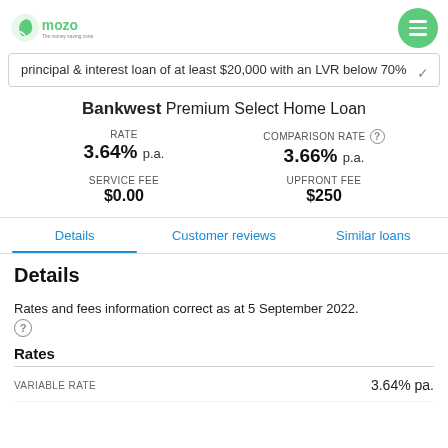mozo - The money saving zone
principal & interest loan of at least $20,000 with an LVR below 70%
Bankwest Premium Select Home Loan
| RATE | COMPARISON RATE |
| --- | --- |
| 3.64% p.a. | 3.66% p.a. |
| SERVICE FEE | UPFRONT FEE |
| --- | --- |
| $0.00 | $250 |
Details | Customer reviews | Similar loans
Details
Rates and fees information correct as at 5 September 2022.
Rates
| VARIABLE RATE |  |
| --- | --- |
|  | 3.64% pa. |